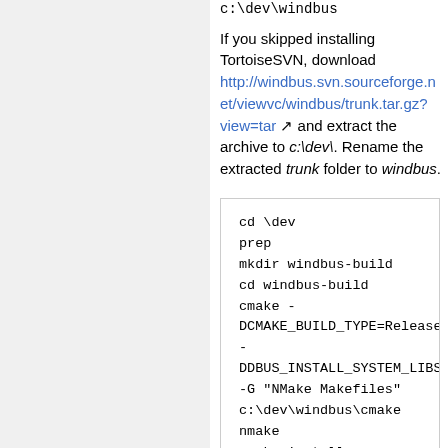c:\dev\windbus
If you skipped installing TortoiseSVN, download http://windbus.svn.sourceforge.net/viewvc/windbus/trunk.tar.gz?view=tar and extract the archive to c:\dev\. Rename the extracted trunk folder to windbus.
cd \dev
prep
mkdir windbus-build
cd windbus-build
cmake -DCMAKE_BUILD_TYPE=Release -DDBUS_INSTALL_SYSTEM_LIBS -G "NMake Makefiles" c:\dev\windbus\cmake
nmake
nmake install